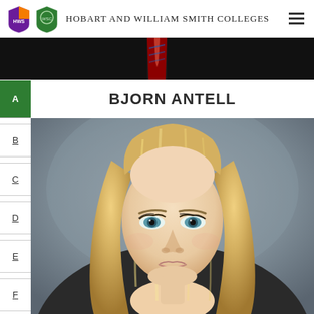HOBART AND WILLIAM SMITH COLLEGES
[Figure (photo): Top portion of a person in a dark suit with a red tie, cropped near the shoulders/chest]
BJORN ANTELL
[Figure (photo): Portrait photo of a young woman with long blonde hair, blue eyes, light makeup, smiling slightly, against a grey background]